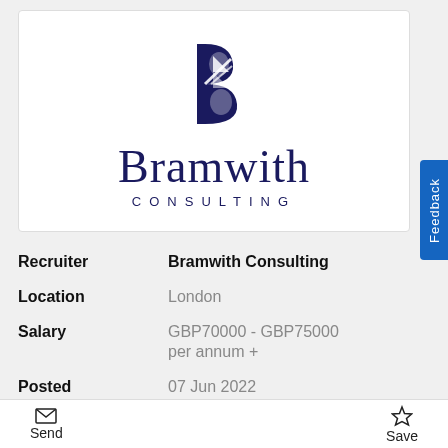[Figure (logo): Bramwith Consulting logo: stylized B icon in dark navy with arrow shapes, with the text 'Bramwith' in large serif font and 'CONSULTING' in spaced sans-serif capitals below]
| Recruiter | Bramwith Consulting |
| Location | London |
| Salary | GBP70000 - GBP75000 per annum + |
| Posted | 07 Jun 2022 |
| Closes | 07 Jul 2022 |
| Ref | BBBH17314.234567 |
Send   Save